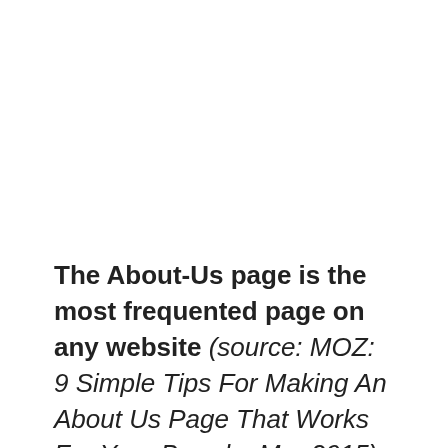The About-Us page is the most frequented page on any website (source: MOZ: 9 Simple Tips For Making An About Us Page That Works For Your Brand – Mar 2015). And